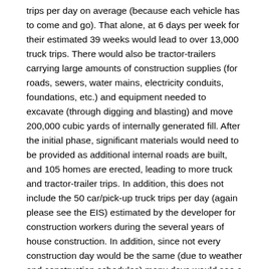trips per day on average (because each vehicle has to come and go). That alone, at 6 days per week for their estimated 39 weeks would lead to over 13,000 truck trips. There would also be tractor-trailers carrying large amounts of construction supplies (for roads, sewers, water mains, electricity conduits, foundations, etc.) and equipment needed to excavate (through digging and blasting) and move 200,000 cubic yards of internally generated fill. After the initial phase, significant materials would need to be provided as additional internal roads are built, and 105 homes are erected, leading to more truck and tractor-trailer trips. In addition, this does not include the 50 car/pick-up truck trips per day (again please see the EIS) estimated by the developer for construction workers during the several years of house construction. In addition, since not every construction day would be the same (due to weather and construction schedules) many days would see a much greater than average amount of